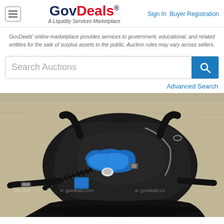GovDeals® A Liquidity Services Marketplace | Sign In Buyer Registration
GovDeals' online marketplace provides services to government, educational, and related entities for the sale of surplus assets to the public. Auction rules may vary across sellers.
Search Auctions
Advanced Search
[Figure (photo): Photo of scuba diving BCD (buoyancy control device) vest with hoses and blue accessories laid on a concrete floor, with GovDeals.com watermark visible]